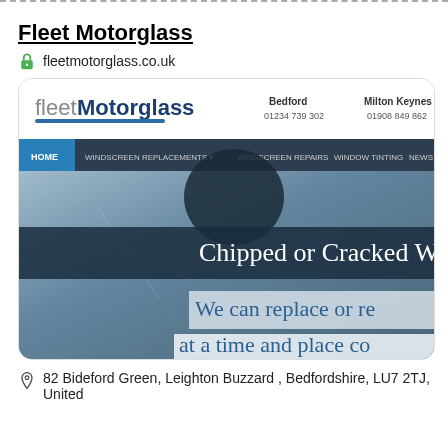Fleet Motorglass
fleetmotorglass.co.uk
[Figure (screenshot): Screenshot of Fleet Motorglass website showing logo, contact numbers for Bedford (01234 739 302) and Milton Keynes (01908 849 862), navigation bar with HOME, WINDSCREEN REPLACEMENTS, WINDSCREEN REPAIRS, WINDOW TINTING, NEWS, and hero image with text 'Chipped or Cracked W... We can replace or re... at a time and place co...']
82 Bideford Green, Leighton Buzzard , Bedfordshire, LU7 2TJ, United